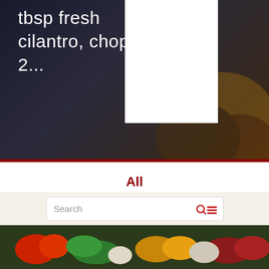[Figure (photo): Hero image with dark overlay showing food/cooking scene. White text reads 'tbsp fresh cilantro, chopped 2...' on the left. White rectangular box on the right side. Red bar at the bottom of the image.]
All
Tips
Recipes
Community
Lifestyle
Events
Search
[Figure (photo): Bottom strip showing colorful food ingredients — vegetables and peppers.]